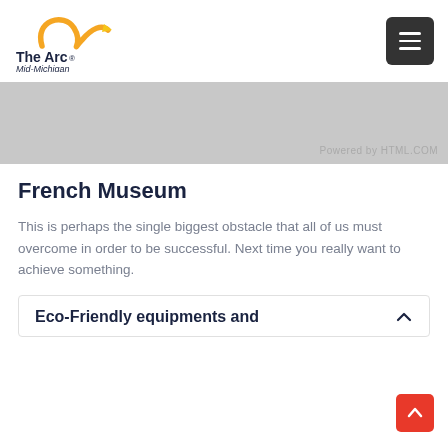[Figure (logo): The Arc Mid-Michigan logo with orange swoosh graphic and bold text]
[Figure (screenshot): Gray banner area with 'Powered by HTML.COM' watermark text in lower right]
French Museum
This is perhaps the single biggest obstacle that all of us must overcome in order to be successful. Next time you really want to achieve something.
Eco-Friendly equipments and